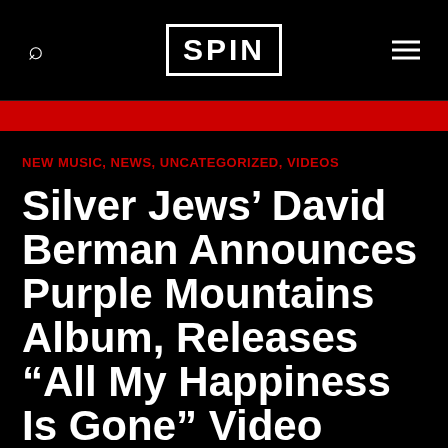SPIN
NEW MUSIC, NEWS, UNCATEGORIZED, VIDEOS
Silver Jews’ David Berman Announces Purple Mountains Album, Releases “All My Happiness Is Gone” Video